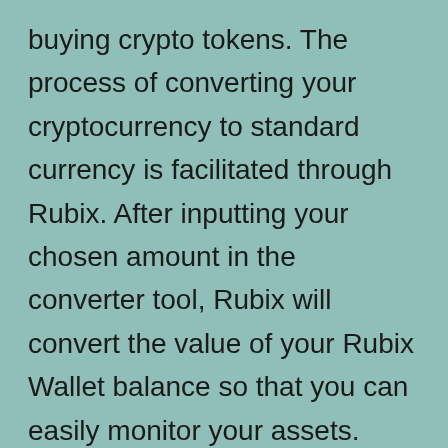buying crypto tokens. The process of converting your cryptocurrency to standard currency is facilitated through Rubix. After inputting your chosen amount in the converter tool, Rubix will convert the value of your Rubix Wallet balance so that you can easily monitor your assets. Anyone residing in the United States is familiar with the United States Dollar. If you are new to crypto, use the Crypto.com University and our Help Center to learn how to start buying Bitcoin, Ethereum and other cryptocurrencies. Ethereum market price is updated every three minutes and is automatically displayed in USD...